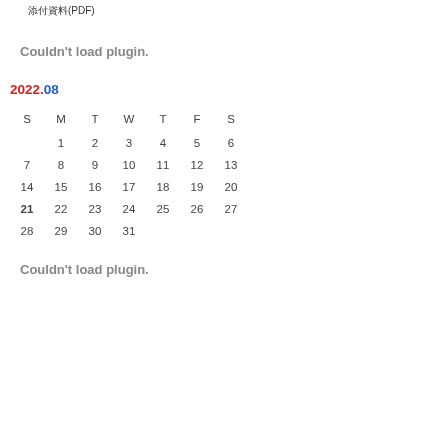添付資料(PDF)
Couldn't load plugin.
2022.08
| S | M | T | W | T | F | S |
| --- | --- | --- | --- | --- | --- | --- |
|  | 1 | 2 | 3 | 4 | 5 | 6 |
| 7 | 8 | 9 | 10 | 11 | 12 | 13 |
| 14 | 15 | 16 | 17 | 18 | 19 | 20 |
| 21 | 22 | 23 | 24 | 25 | 26 | 27 |
| 28 | 29 | 30 | 31 |  |  |  |
Couldn't load plugin.